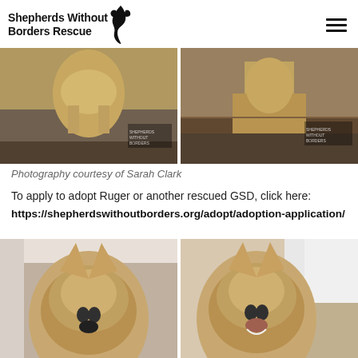Shepherds Without Borders Rescue
[Figure (photo): Two side-by-side photos of a German Shepherd dog outdoors on a path with bare trees in background]
Photography courtesy of Sarah Clark
To apply to adopt Ruger or another rescued GSD, click here:
https://shepherdswithoutborders.org/adopt/adoption-application/
[Figure (photo): Two side-by-side close-up photos of a German Shepherd puppy, one serious and one with mouth open smiling]